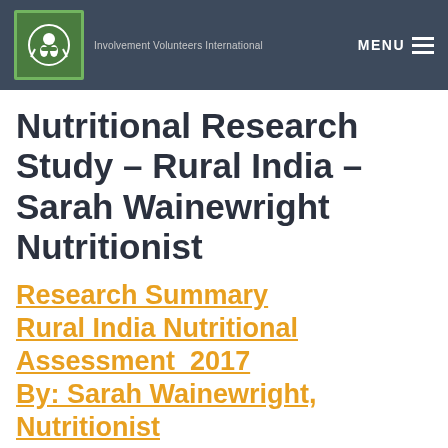Involvement Volunteers International
Nutritional Research Study – Rural India – Sarah Wainewright Nutritionist
Research Summary Rural India Nutritional Assessment  2017 By: Sarah Wainewright, Nutritionist
Introduction